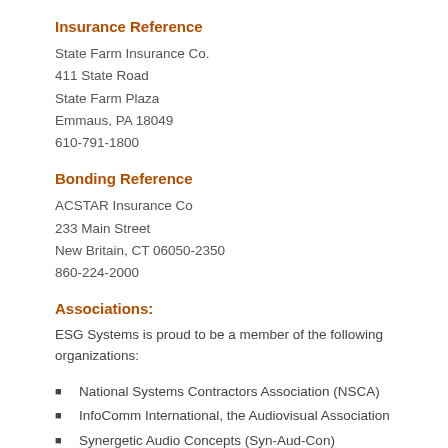Insurance Reference
State Farm Insurance Co.
411 State Road
State Farm Plaza
Emmaus, PA 18049
610-791-1800
Bonding Reference
ACSTAR Insurance Co
233 Main Street
New Britain, CT 06050-2350
860-224-2000
Associations:
ESG Systems is proud to be a member of the following organizations:
National Systems Contractors Association (NSCA)
InfoComm International, the Audiovisual Association
Synergetic Audio Concepts (Syn-Aud-Con)
AVolution (AV)